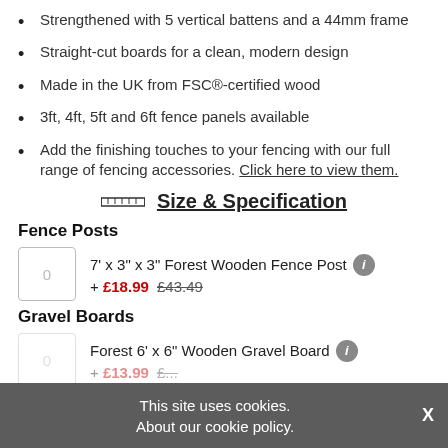Strengthened with 5 vertical battens and a 44mm frame
Straight-cut boards for a clean, modern design
Made in the UK from FSC®-certified wood
3ft, 4ft, 5ft and 6ft fence panels available
Add the finishing touches to your fencing with our full range of fencing accessories. Click here to view them.
📏 Size & Specification
Fence Posts
7' x 3" x 3" Forest Wooden Fence Post + £18.99 £43.49
Gravel Boards
Forest 6' x 6" Wooden Gravel Board + £13.99 £...
This site uses cookies. About our cookie policy.